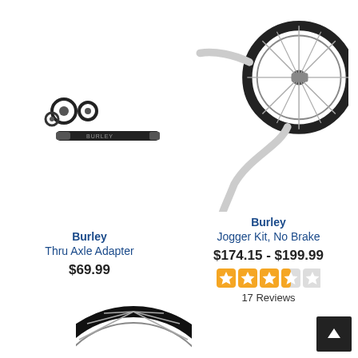[Figure (photo): Burley Thru Axle Adapter product image showing a black axle rod with small nuts and rings]
Burley
Thru Axle Adapter
$69.99
[Figure (photo): Burley Jogger Kit No Brake product image showing a silver metal arm with a black spoked wheel]
Burley
Jogger Kit, No Brake
$174.15 - $199.99
[Figure (other): Star rating: 3.5 out of 5 stars shown as orange filled stars]
17 Reviews
[Figure (photo): Partial view of a black spoked bicycle wheel visible at the bottom of the page]
[Figure (other): Back to top button - dark square with white upward chevron arrow]